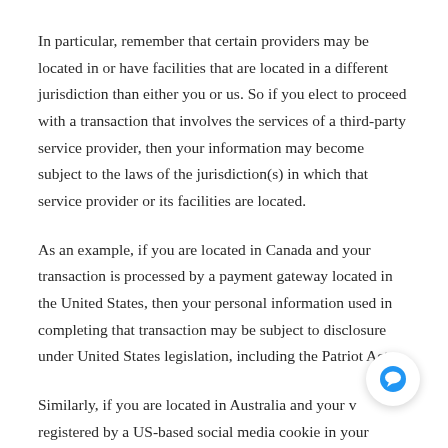In particular, remember that certain providers may be located in or have facilities that are located in a different jurisdiction than either you or us. So if you elect to proceed with a transaction that involves the services of a third-party service provider, then your information may become subject to the laws of the jurisdiction(s) in which that service provider or its facilities are located.
As an example, if you are located in Canada and your transaction is processed by a payment gateway located in the United States, then your personal information used in completing that transaction may be subject to disclosure under United States legislation, including the Patriot Act.
Similarly, if you are located in Australia and your v registered by a US-based social media cookie in your browser, then your personal information used in